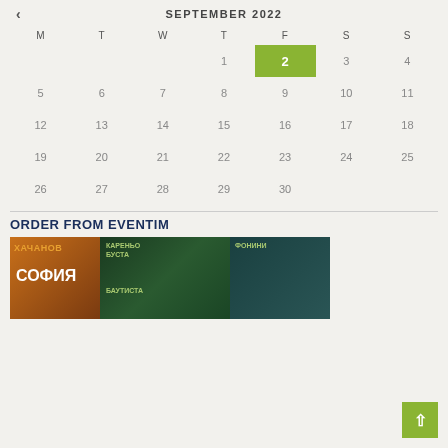SEPTEMBER 2022
| M | T | W | T | F | S | S |
| --- | --- | --- | --- | --- | --- | --- |
|  |  |  | 1 | 2 | 3 | 4 |
| 5 | 6 | 7 | 8 | 9 | 10 | 11 |
| 12 | 13 | 14 | 15 | 16 | 17 | 18 |
| 19 | 20 | 21 | 22 | 23 | 24 | 25 |
| 26 | 27 | 28 | 29 | 30 |  |  |
ORDER FROM EVENTIM
[Figure (photo): Event promotional banner showing tennis players including Khachanov, Kareno Busta, Bautista, Fognini with Sofia text overlay]